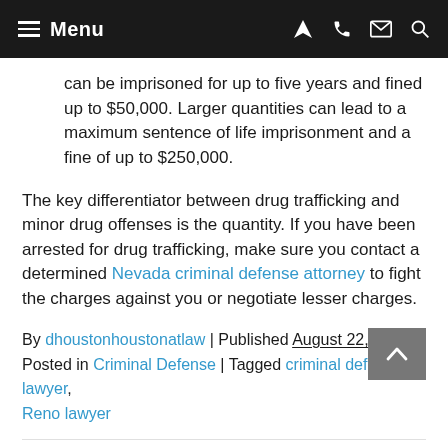Menu
can be imprisoned for up to five years and fined up to $50,000. Larger quantities can lead to a maximum sentence of life imprisonment and a fine of up to $250,000.
The key differentiator between drug trafficking and minor drug offenses is the quantity. If you have been arrested for drug trafficking, make sure you contact a determined Nevada criminal defense attorney to fight the charges against you or negotiate lesser charges.
By dhoustonhoustonatlaw | Published August 22, 2013 | Posted in Criminal Defense | Tagged criminal defense lawyer, Reno lawyer
Leave a Reply
Your email address will not be published. Required fields are